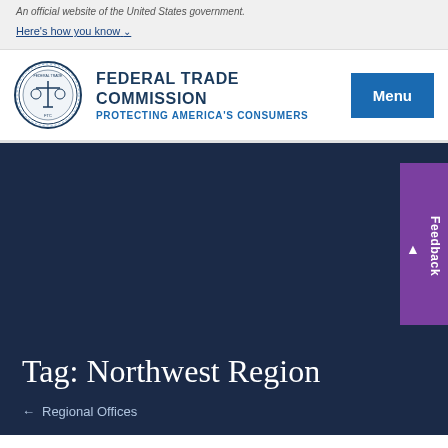An official website of the United States government. Here's how you know
[Figure (logo): Federal Trade Commission seal logo and name header with 'FEDERAL TRADE COMMISSION' and 'PROTECTING AMERICA'S CONSUMERS' and Menu button]
Tag: Northwest Region
← Regional Offices